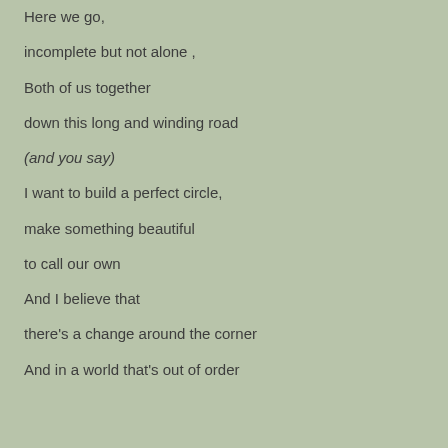Here we go,
incomplete but not alone ,
Both of us together
down this long and winding road
(and you say)
I want to build a perfect circle,
make something beautiful
to call our own
And I believe that
there's a change around the corner
And in a world that's out of order